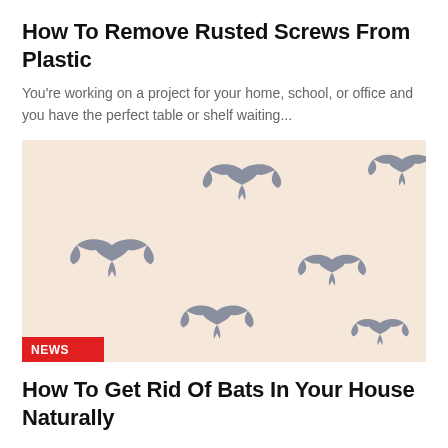How To Remove Rusted Screws From Plastic
You're working on a project for your home, school, or office and you have the perfect table or shelf waiting...
[Figure (illustration): Peach/cream background with multiple gray bat silhouettes scattered across the image, with a red NEWS badge in the bottom left corner]
How To Get Rid Of Bats In Your House Naturally